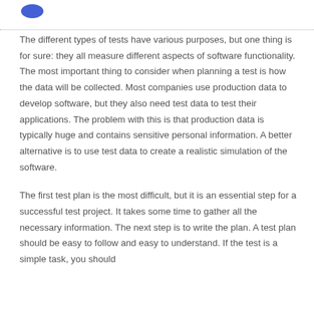The different types of tests have various purposes, but one thing is for sure: they all measure different aspects of software functionality. The most important thing to consider when planning a test is how the data will be collected. Most companies use production data to develop software, but they also need test data to test their applications. The problem with this is that production data is typically huge and contains sensitive personal information. A better alternative is to use test data to create a realistic simulation of the software.
The first test plan is the most difficult, but it is an essential step for a successful test project. It takes some time to gather all the necessary information. The next step is to write the plan. A test plan should be easy to follow and easy to understand. If the test is a simple task, you should